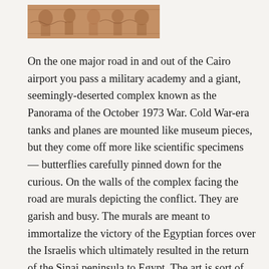[Figure (photo): A partial photograph showing ancient Egyptian relief carvings or murals in warm terracotta/sandstone tones, with figures and decorative patterns visible.]
On the one major road in and out of the Cairo airport you pass a military academy and a giant, seemingly-deserted complex known as the Panorama of the October 1973 War. Cold War-era tanks and planes are mounted like museum pieces, but they come off more like scientific specimens — butterflies carefully pinned down for the curious. On the walls of the complex facing the road are murals depicting the conflict. They are garish and busy. The murals are meant to immortalize the victory of the Egyptian forces over the Israelis which ultimately resulted in the return of the Sinai peninsula to Egypt. The art is sort of like what you'd see on the cover of a war-theme comic book or a role-playing instruction manual. Thing is, historians usually call the conflict a military draw. The Egyptian Third Army was totally surrounded by the time...